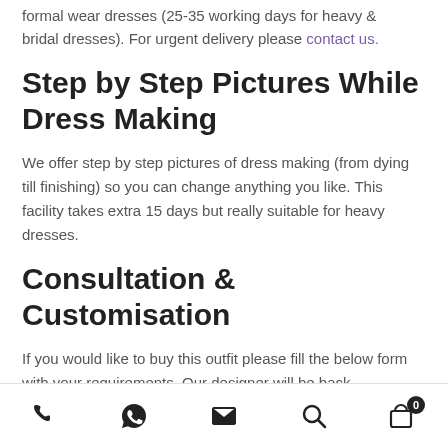formal wear dresses (25-35 working days for heavy & bridal dresses). For urgent delivery please contact us.
Step by Step Pictures While Dress Making
We offer step by step pictures of dress making (from dying till finishing) so you can change anything you like. This facility takes extra 15 days but really suitable for heavy dresses.
Consultation & Customisation
If you would like to buy this outfit please fill the below form with your requirements. Our designer will be back
phone | whatsapp | email | search | cart (0)